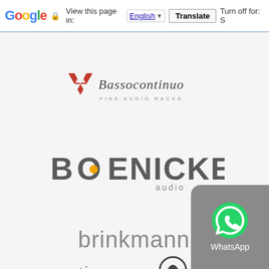Google  View this page in: English  Translate  Turn off for: S
[Figure (logo): Bassocontinuo Fine Audio Racks logo — red triangular pattern with cursive brand name and subtitle]
[Figure (logo): Boenicke audio logo — bold grey uppercase letters with orange dot in O]
[Figure (logo): brinkmann logo — grey mixed-case wordmark]
[Figure (logo): continuum audible science logo — grey stylised wordmark with circular emblem]
[Figure (illustration): WhatsApp floating widget button with green phone icon and white label]